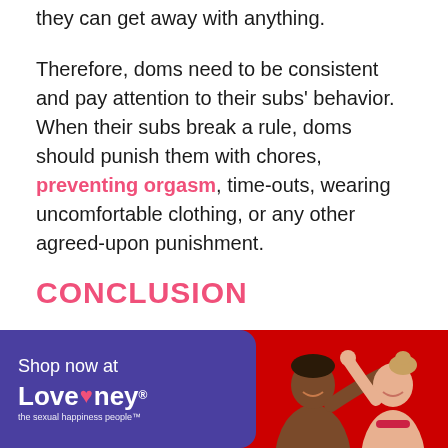they can get away with anything.
Therefore, doms need to be consistent and pay attention to their subs' behavior. When their subs break a rule, doms should punish them with chores, preventing orgasm, time-outs, wearing uncomfortable clothing, or any other agreed-upon punishment.
CONCLUSION
Subs must be obedient to their doms and follow their rules no matter what, like dressing
[Figure (illustration): Lovehoney advertisement banner with purple left panel showing 'Shop now at Lovehoney - the sexual happiness people' branding, and red right panel showing a couple interacting on a red background.]